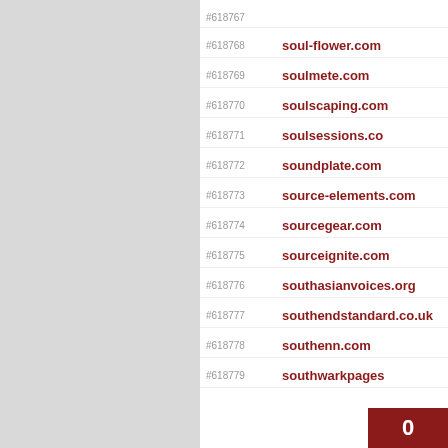#618767
#618768 soul-flower.com
#618769 soulmete.com
#618770 soulscaping.com
#618771 soulsessions.co
#618772 soundplate.com
#618773 source-elements.com
#618774 sourcegear.com
#618775 sourceignite.com
#618776 southasianvoices.org
#618777 southendstandard.co.uk
#618778 southenn.com
#618779 southwarkpages